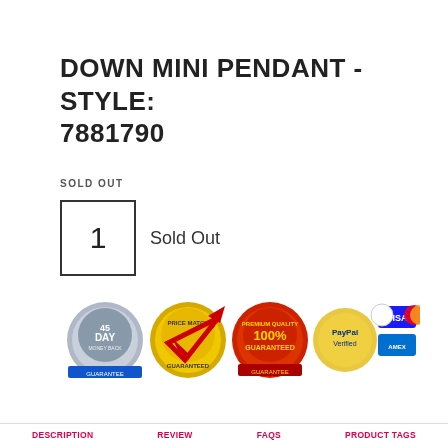DOWN MINI PENDANT - STYLE: 7881790
SOLD OUT
1  Sold Out
[Figure (infographic): Trust badge icons: 45 Day money back guarantee badge, Price Match Guaranteed badge with red checkmark, 100% Premium Quality Guaranteed badge, PayPal Verified badge, Visa/Mastercard/AmEx/Discover payment icons, Norton Secured powered by Symantec badge]
DESCRIPTION   REVIEW   FAQS   PRODUCT TAGS